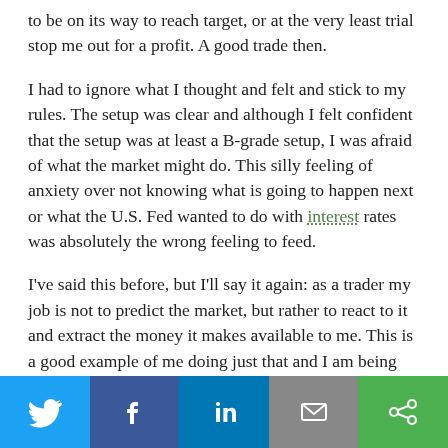to be on its way to reach target, or at the very least trial stop me out for a profit. A good trade then.
I had to ignore what I thought and felt and stick to my rules. The setup was clear and although I felt confident that the setup was at least a B-grade setup, I was afraid of what the market might do. This silly feeling of anxiety over not knowing what is going to happen next or what the U.S. Fed wanted to do with interest rates was absolutely the wrong feeling to feed.
I've said this before, but I'll say it again: as a trader my job is not to predict the market, but rather to react to it and extract the money it makes available to me. This is a good example of me doing just that and I am being rewarded for my disciplined adherence to my trading
[Figure (infographic): Social sharing bar with Twitter, Facebook, LinkedIn, Email, and Other share buttons]